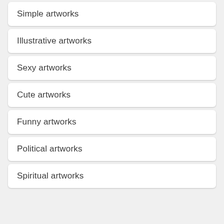Simple artworks
Illustrative artworks
Sexy artworks
Cute artworks
Funny artworks
Political artworks
Spiritual artworks